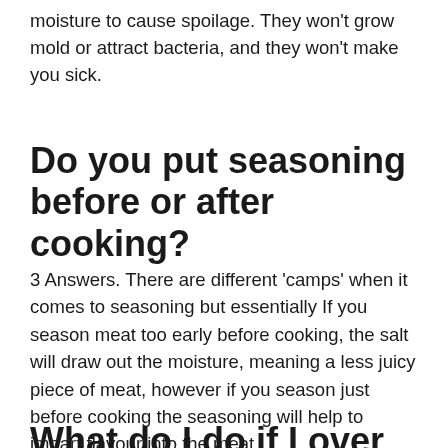moisture to cause spoilage. They won't grow mold or attract bacteria, and they won't make you sick.
Do you put seasoning before or after cooking?
3 Answers. There are different ‘camps’ when it comes to seasoning but essentially If you season meat too early before cooking, the salt will draw out the moisture, meaning a less juicy piece of meat, however if you season just before cooking the seasoning will help to impart flavour into the meat.
What do I do if I over seasoned meat?